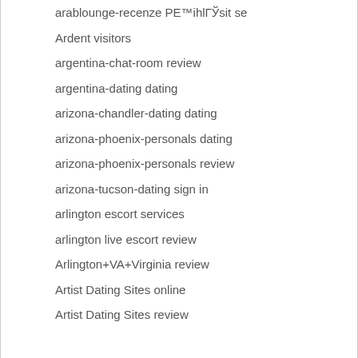arablounge-recenze PE™ihlГЎsit se
Ardent visitors
argentina-chat-room review
argentina-dating dating
arizona-chandler-dating dating
arizona-phoenix-personals dating
arizona-phoenix-personals review
arizona-tucson-dating sign in
arlington escort services
arlington live escort review
Arlington+VA+Virginia review
Artist Dating Sites online
Artist Dating Sites review